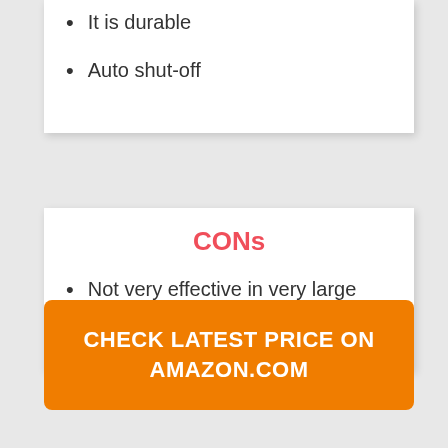It is durable
Auto shut-off
CONs
Not very effective in very large areas
CHECK LATEST PRICE ON AMAZON.COM